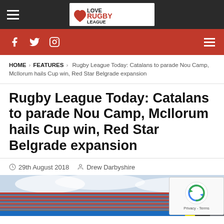Love Rugby League — navigation header with logo
Social bar: Facebook, Twitter, Instagram icons
HOME › FEATURES › Rugby League Today: Catalans to parade Nou Camp, McIlorum hails Cup win, Red Star Belgrade expansion
Rugby League Today: Catalans to parade Nou Camp, McIlorum hails Cup win, Red Star Belgrade expansion
29th August 2018  Drew Darbyshire
[Figure (photo): Stadium image showing packed stands with red and blue colors under a cloudy sky]